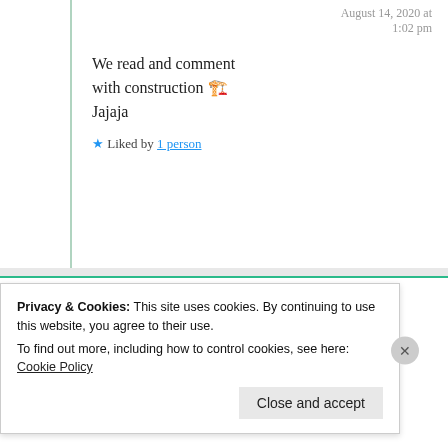August 14, 2020 at 1:02 pm
We read and comment with construction 🏗️ Jajaja
★ Liked by 1 person
P@rth...😊
August 14, 2020 at 6:39 am
Privacy & Cookies: This site uses cookies. By continuing to use this website, you agree to their use. To find out more, including how to control cookies, see here: Cookie Policy
Close and accept